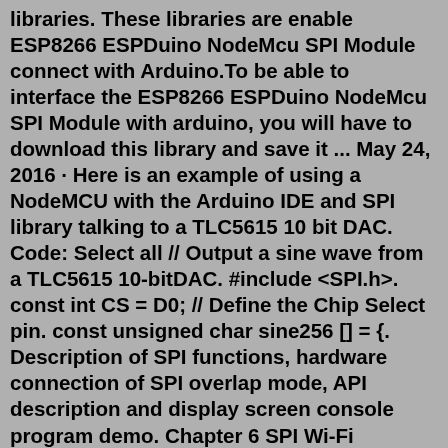libraries. These libraries are enable ESP8266 ESPDuino NodeMcu SPI Module connect with Arduino.To be able to interface the ESP8266 ESPDuino NodeMcu SPI Module with arduino, you will have to download this library and save it ... May 24, 2016 · Here is an example of using a NodeMCU with the Arduino IDE and SPI library talking to a TLC5615 10 bit DAC. Code: Select all // Output a sine wave from a TLC5615 10-bitDAC. #include <SPI.h>. const int CS = D0; // Define the Chip Select pin. const unsigned char sine256 [] = {. Description of SPI functions, hardware connection of SPI overlap mode, API description and display screen console program demo. Chapter 6 SPI Wi-Fi Passthrough 1-Interrupt Mode Description of SPI functions, SPI slave protocol format, slave status and line breakage and API functions. Chapter 7 SPI Wi-Fi Passthrough 2-Interrupt Mode SPI communication: ESP8266 NodeMCU to Arduino Uno In this example, We want to communicate via SPI between an ESP8266 as master and an Arduino Uno as a slave di...